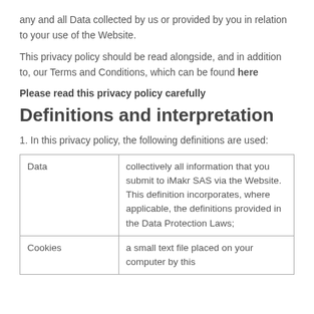any and all Data collected by us or provided by you in relation to your use of the Website.
This privacy policy should be read alongside, and in addition to, our Terms and Conditions, which can be found here
Please read this privacy policy carefully
Definitions and interpretation
1. In this privacy policy, the following definitions are used:
|  |  |
| --- | --- |
| Data | collectively all information that you submit to iMakr SAS via the Website. This definition incorporates, where applicable, the definitions provided in the Data Protection Laws; |
| Cookies | a small text file placed on your computer by this |